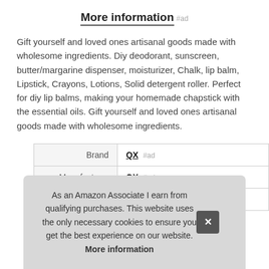More information #ad
Gift yourself and loved ones artisanal goods made with wholesome ingredients. Diy deodorant, sunscreen, butter/margarine dispenser, moisturizer, Chalk, lip balm, Lipstick, Crayons, Lotions, Solid detergent roller. Perfect for diy lip balms, making your homemade chapstick with the essential oils. Gift yourself and loved ones artisanal goods made with wholesome ingredients.
|  |  |
| --- | --- |
| Brand | QX #ad |
| Manufacturer | QX #ad |
| P |  |
As an Amazon Associate I earn from qualifying purchases. This website uses the only necessary cookies to ensure you get the best experience on our website. More information